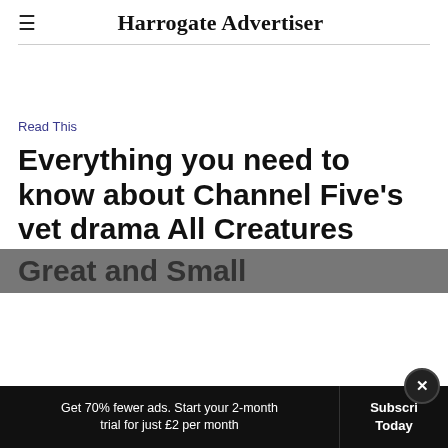Harrogate Advertiser
Read This
Everything you need to know about Channel Five's vet drama All Creatures Great and Small
Get 70% fewer ads. Start your 2-month trial for just £2 per month
Subscribe Today